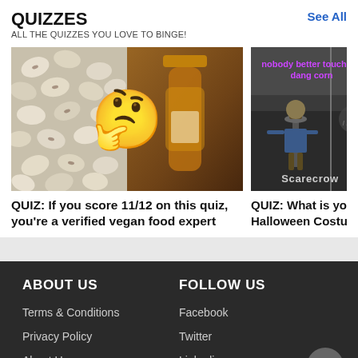QUIZZES
ALL THE QUIZZES YOU LOVE TO BINGE!
See All
[Figure (photo): Left quiz card showing beans, thinking emoji overlay, and maple syrup bottle photo]
QUIZ: If you score 11/12 on this quiz, you're a verified vegan food expert
[Figure (photo): Right quiz card with scarecrow meme image in grayscale with purple text 'nobody better touch my dang corn' and label 'Scarecrow']
QUIZ: What is your pe Halloween Costume?
ABOUT US
Terms & Conditions
Privacy Policy
About Us

FOLLOW US
Facebook
Twitter
Linkedin